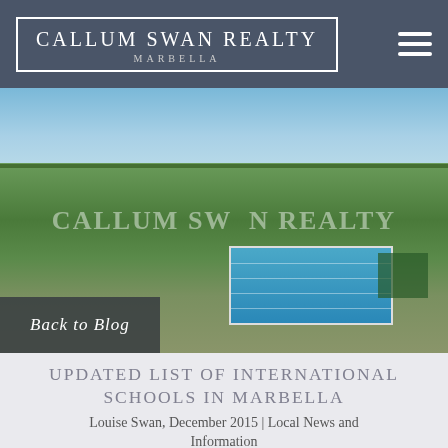[Figure (logo): Callum Swan Realty Marbella logo in white text with border on dark grey navigation bar, with hamburger menu icon on right]
[Figure (photo): Aerial/elevated view of Marbella landscape with green trees, Mediterranean sea visible in background, swimming pool and sports facility in foreground, with 'CALLUM SWAN REALTY' watermark overlay and 'Back to Blog' button in bottom left]
UPDATED LIST OF INTERNATIONAL SCHOOLS IN MARBELLA
Louise Swan, December 2015 | Local News and Information
Your Privacy